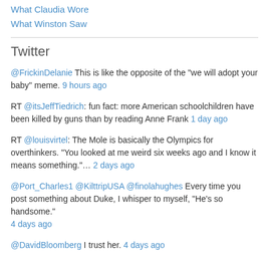What Claudia Wore
What Winston Saw
Twitter
@FrickinDelanie This is like the opposite of the "we will adopt your baby" meme. 9 hours ago
RT @itsJeffTiedrich: fun fact: more American schoolchildren have been killed by guns than by reading Anne Frank 1 day ago
RT @louisvirtel: The Mole is basically the Olympics for overthinkers. "You looked at me weird six weeks ago and I know it means something."… 2 days ago
@Port_Charles1 @KilttripUSA @finolahughes Every time you post something about Duke, I whisper to myself, "He's so handsome." 4 days ago
@DavidBloomberg I trust her. 4 days ago